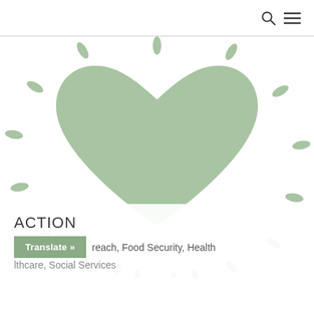search and menu icons
[Figure (illustration): A large sage green heart shape centered on white background, surrounded by scattered oval dash marks radiating outward in the same sage green color, creating a glowing or radiating effect.]
ACTION
reach, Food Security, Health
lthcare, Social Services